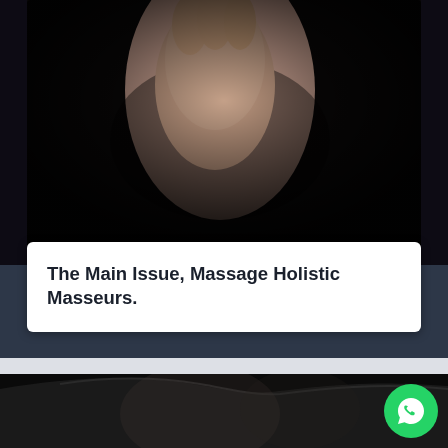[Figure (photo): Dark background photo showing a hand performing a massage on a person's back/shoulder area, dramatic lighting with warm skin tones against black background]
The Main Issue, Massage Holistic Masseurs.
[Figure (photo): Dark photo showing the contours of a human back/torso with dramatic low-key lighting against a black background]
[Figure (logo): WhatsApp icon button - green circle with white speech bubble phone icon]